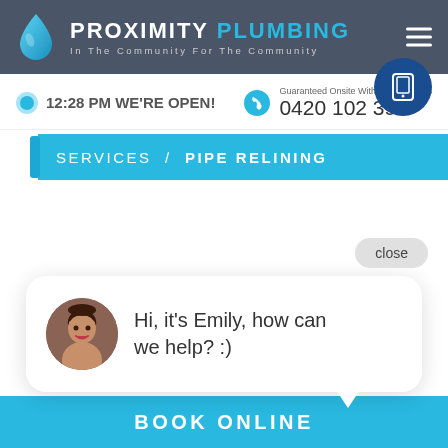[Figure (logo): Proximity Plumbing logo with blue water drop and company name]
12:28 PM WE'RE OPEN!
Guaranteed Onsite Within 30 Minutes
0420 102 394
SERVICES / PIPE RELINING
close
Hi, it's Emily, how can we help? :)
BOOK ONLINE